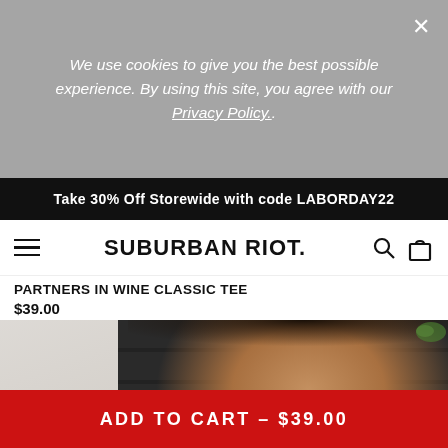We use cookies to give you the best possible experience. By using this site, you agree with our Privacy Policy..
Take 30% Off Storewide with code LABORDAY22
SUBURBAN RIOT.
PARTNERS IN WINE CLASSIC TEE
$39.00
[Figure (photo): Woman with dark hair smiling, photographed outdoors against a dark fence/wall with green foliage]
select a size	XS
ADD TO CART – $39.00